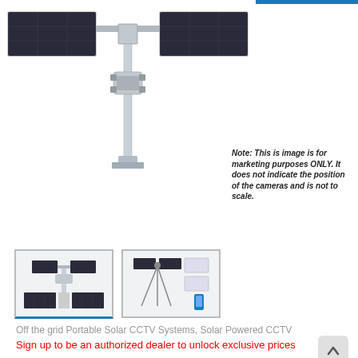[Figure (photo): Solar CCTV system mounted on a pole with dual solar panels extended horizontally, showing the camera housing in the center. Top-down/angled view of the solar panel installation.]
Note: This is image is for marketing purposes ONLY. It does not indicate the position of the cameras and is not to scale.
[Figure (photo): Thumbnail 1: Solar CCTV system on a pole with solar panels, small product image.]
[Figure (photo): Thumbnail 2: Portable solar CCTV system on a tripod stand with components diagram.]
Off the grid Portable Solar CCTV Systems, Solar Powered CCTV
Sign up to be an authorized dealer to unlock exclusive prices
2MSP1F-4G3D Portable Solar Solution with a 4K Ultra HD Vandal-resistant Fisheye Camera and 4G